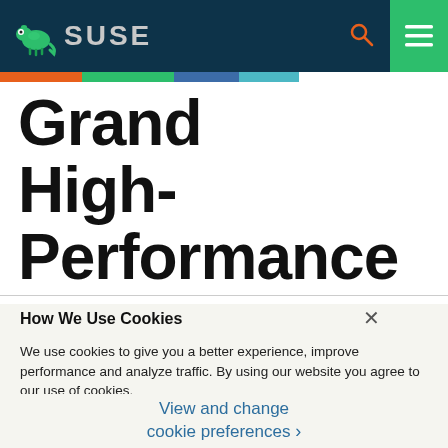SUSE
Grandfard High-Performance
How We Use Cookies
We use cookies to give you a better experience, improve performance and analyze traffic. By using our website you agree to our use of cookies.
View and change cookie preferences >